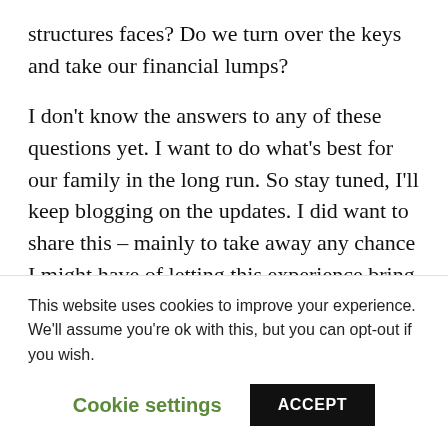structures faces? Do we turn over the keys and take our financial lumps?
I don't know the answers to any of these questions yet. I want to do what's best for our family in the long run. So stay tuned, I'll keep blogging on the updates. I did want to share this – mainly to take away any chance I might have of letting this experience bring me down. I've said it before, we need not to suffer in silence and sharing this not-
This website uses cookies to improve your experience. We'll assume you're ok with this, but you can opt-out if you wish.
Cookie settings    ACCEPT